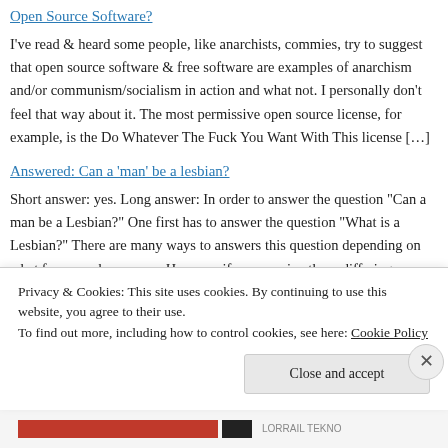Open Source Software?
I've read & heard some people, like anarchists, commies, try to suggest that open source software & free software are examples of anarchism and/or communism/socialism in action and what not. I personally don't feel that way about it. The most permissive open source license, for example, is the Do Whatever The Fuck You Want With This license [...]
Answered: Can a 'man' be a lesbian?
Short answer: yes. Long answer: In order to answer the question "Can a man be a Lesbian?" One first has to answer the question "What is a Lesbian?" There are many ways to answers this question depending on what framework one uses. However if we examine these differing frameworks (using a meta framework) we can separate these frameworks in [...]
Answered: Is your anarchism positively constructed?
Privacy & Cookies: This site uses cookies. By continuing to use this website, you agree to their use.
To find out more, including how to control cookies, see here: Cookie Policy
Close and accept